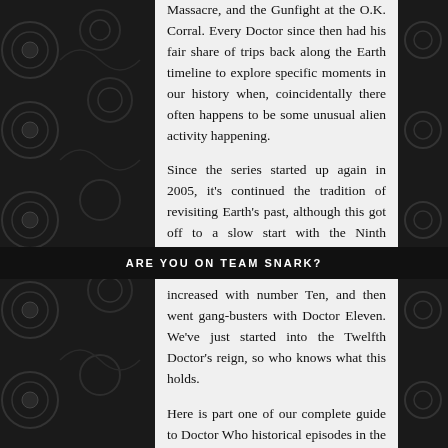Massacre, and the Gunfight at the O.K. Corral. Every Doctor since then had his fair share of trips back along the Earth timeline to explore specific moments in our history when, coincidentally there often happens to be some unusual alien activity happening.
Since the series started up again in 2005, it's continued the tradition of revisiting Earth's past, although this got off to a slow start with the Ninth Doctor. The historicals increased with number Ten, and then went gang-busters with Doctor Eleven. We've just started into the Twelfth Doctor's reign, so who knows what this holds.
ARE YOU ON TEAM SNARK?
Here is part one of our complete guide to Doctor Who historical episodes in the New Who Era, focusing on the attempts at historical costuming...
Christopher Eccleston, the Ninth